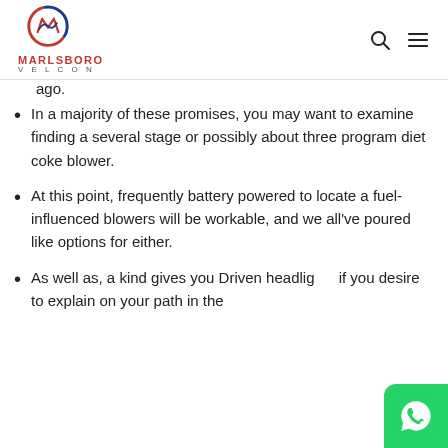MARLSBORO VELCON — navigation header with logo, search icon, and menu icon
ago.
In a majority of these promises, you may want to examine finding a several stage or possibly about three program diet coke blower.
At this point, frequently battery powered to locate a fuel-influenced blowers will be workable, and we all've poured like options for either.
As well as, a kind gives you Driven headlights if you desire to explain on your path in the